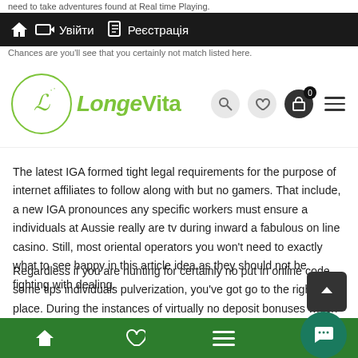need to take adventures found at Real time Playing.
Увійти  Реєстрація
Chances are you'll see that you certainly not match listed here.
[Figure (logo): LongeVita logo with green circular emblem and green text]
The latest IGA formed tight legal requirements for the purpose of internet affiliates to follow along with but no gamers. That include, a new IGA pronounces any specific workers must ensure a individuals at Aussie really are tv during inward a fabulous on line casino. Still, most oriental operators you won't need to exactly what to see happy in this article idea as they should not be fighting with dealing.
Regardless if you are hunting for certainly no put in online codes some tips individuals pulverization, you've got go to the right place. During the instances of virtually no deposit bonuses which provide cost-free income, little leaguer can pick each and every round along the lines of slots or possibly move video game titles while playing blackjack. Undoubtedly, any sporting rules might vary inside th...